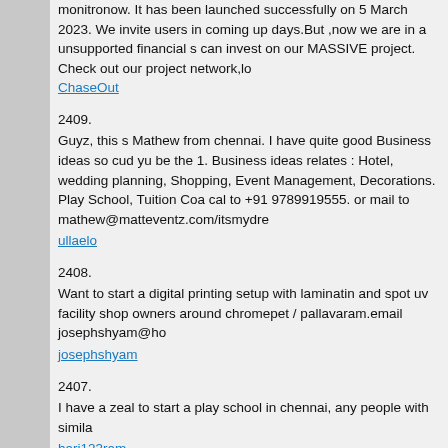monitronow. It has been launched successfully on 5 March 2023. We invite users in coming up days.But ,now we are in a unsupported financial s can invest on our MASSIVE project. Check out our project network,lo
ChaseOut
2409.
Guyz, this s Mathew from chennai. I have quite good Business ideas so cud yu be the 1. Business ideas relates : Hotel, wedding planning, Shopping, Event Management, Decorations. Play School, Tuition Coa cal to +91 9789919555. or mail to mathew@matteventz.com/itsmydre
ullaelo
2408.
Want to start a digital printing setup with laminatin and spot uv facility shop owners around chromepet / pallavaram.email josephshyam@ho
josephshyam
2407.
I have a zeal to start a play school in chennai, any people with simila
hari123ram
2406.
Assured 3-4% return, Secured investment trasding on global platform subra.iib@gmail.com for further understanding.
subu
2405.
New Convenient food Life style of cosmopolitan cities has brought the convenient foods. We wish to introduce packed foodstuff with natural this product is not in Indian market Promising Returns Know – how & packs, shelf life- one year Licensing Authority: CFTRI Mysore, Fssai- M.SureshKanthan—practicing gastronomy